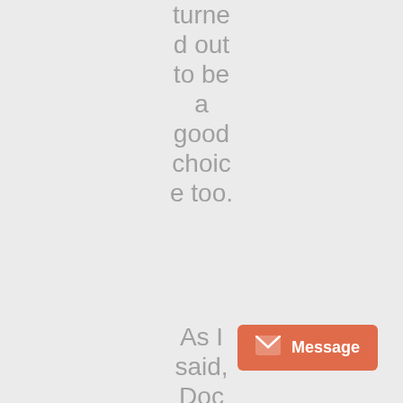turned out to be a good choice too.
As I said, Doc had done this before and was all about buying some liv
[Figure (other): Orange message button with envelope icon and 'Message' label in bottom right corner]